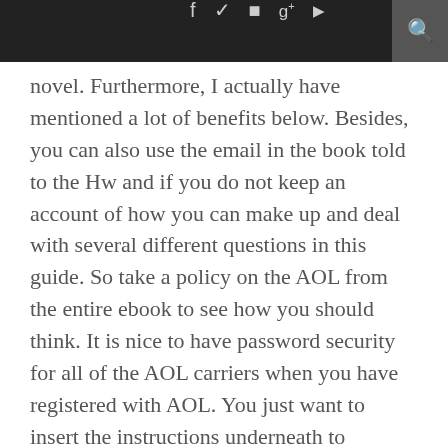f  ✦  ✷  g+  ▶  🔍
novel. Furthermore, I actually have mentioned a lot of benefits below. Besides, you can also use the email in the book told to the Hw and if you do not keep an account of how you can make up and deal with several different questions in this guide. So take a policy on the AOL from the entire ebook to see how you should think. It is nice to have password security for all of the AOL carriers when you have registered with AOL. You just want to insert the instructions underneath to understand and Aol Sign In. As we mentioned, you can add